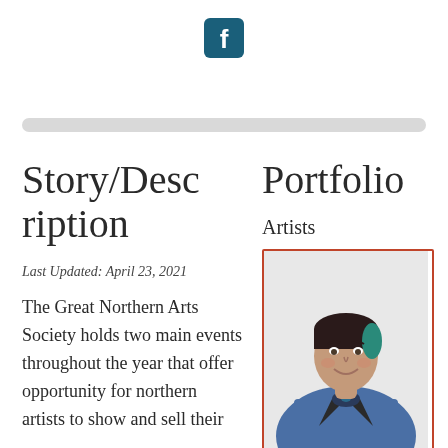[Figure (logo): Facebook logo icon, square with rounded corners, dark teal/blue color with white 'f']
[Figure (other): Horizontal scrollbar UI element, light grey rounded bar]
Story/Description
Last Updated: April 23, 2021
The Great Northern Arts Society holds two main events throughout the year that offer opportunity for northern artists to show and sell their
Portfolio
Artists
[Figure (photo): Portrait photo of a woman with short dark hair with teal highlights, wearing a blue leather jacket and statement necklace, smiling, on white background]
April Glaicar
South Glas...